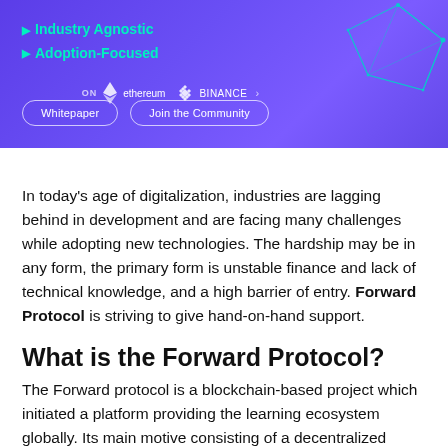[Figure (screenshot): Purple/violet banner with Forward Protocol branding. Shows bullet points 'Industry Agnostic' and 'Adoption-Focused' in cyan, two rounded buttons 'Whitepaper' and 'Join the Community', Ethereum and Binance logos, and a geometric cyan wireframe shape on the right.]
In today’s age of digitalization, industries are lagging behind in development and are facing many challenges while adopting new technologies. The hardship may be in any form, the primary form is unstable finance and lack of technical knowledge, and a high barrier of entry. Forward Protocol is striving to give hand-on-hand support.
What is the Forward Protocol?
The Forward protocol is a blockchain-based project which initiated a platform providing the learning ecosystem globally. Its main motive consisting of a decentralized reward system